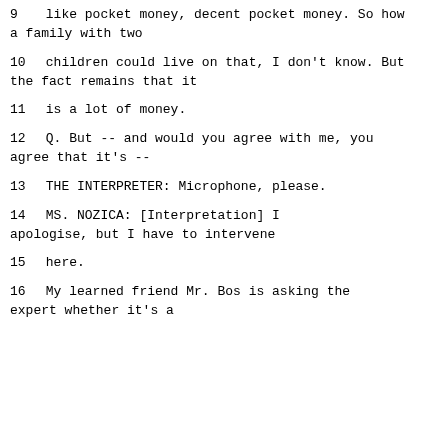9     like pocket money, decent pocket money.  So how a family with two
10     children could live on that, I don't know.  But the fact remains that it
11     is a lot of money.
12          Q.   But -- and would you agree with me, you agree that it's --
13               THE INTERPRETER:  Microphone, please.
14               MS. NOZICA: [Interpretation] I apologise, but I have to intervene
15     here.
16               My learned friend Mr. Bos is asking the expert whether it's a